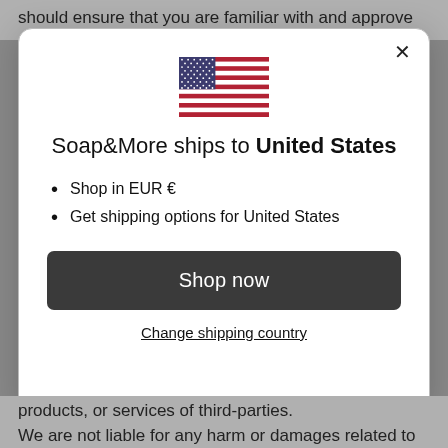should ensure that you are familiar with and approve
[Figure (illustration): US flag emoji/icon centered at top of modal dialog]
Soap&More ships to United States
Shop in EUR €
Get shipping options for United States
Shop now
Change shipping country
products, or services of third-parties. We are not liable for any harm or damages related to